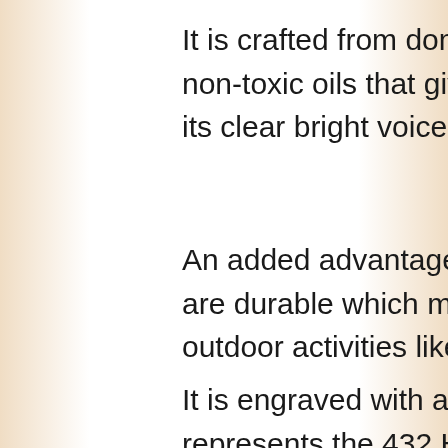It is crafted from domestic walnut and sealed with non-toxic oils that give it a beautiful finish and add to its clear bright voice, especially on the high notes.
An added advantage of hardwood flutes is that they are durable which makes them ideal for traveling or outdoor activities like hiking and backpacking.
It is engraved with a geometric pattern that represents the 432 Hz frequency, is inlaid with Rainbow Moonstone cabochons, and the fetish symbolizes the circle of life.